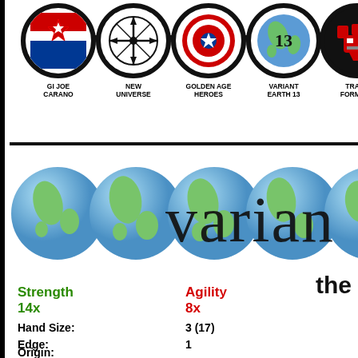[Figure (infographic): Row of five circular franchise icons with labels: GI JOE CARANO, NEW UNIVERSE, GOLDEN AGE HEROES, VARIANT EARTH 13, TRANS FORMERS]
[Figure (illustration): Row of globe emoji/illustrations with large text 'varian' partially visible, on white background]
the
Strength
14x
Agility
8x
Hand Size: 3 (17)
Edge: 1
Origin:
George Zimmerman, the dread Accountant, is a vampire, a o one of the walking dead. Of course, George is still plotting hi return him to a normal state of existence. Whether or not this